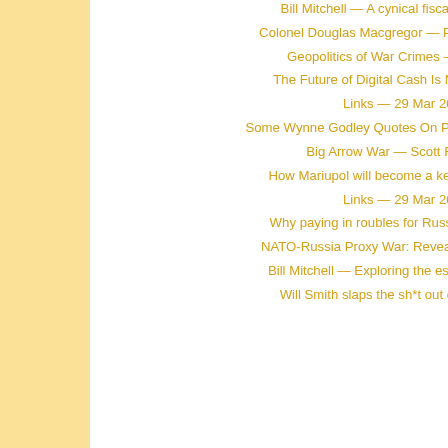Bill Mitchell — A cynical fiscal statement from a ...
Colonel Douglas Macgregor — Part Of The Problem wi...
Geopolitics of War Crimes — Andrei Martyanov
The Future of Digital Cash Is Not on the Blockchai...
Links — 29 Mar 2022 Part 2
Some Wynne Godley Quotes On Planned Trade — Ramanan
Big Arrow War — Scott Ritter (and more)
How Mariupol will become a key hub of Eurasia inte...
Links — 29 Mar 2022 Part 1
Why paying in roubles for Russian gas and oil migh...
NATO-Russia Proxy War: Revealing Signs of a Fading...
Bill Mitchell — Exploring the essence of MMT – Part 1
Will Smith slaps the sh*t out of Chris Rock on liv...
Igor Kirillo... manufactu... UAV with s...
TASS (Ru... Russian m... https://tas...
also at TA... Russian D... https://tas...
Russian e... https://tas...
See also
Sputnik In... Russian M... Ukraine https://spu... in-funding...